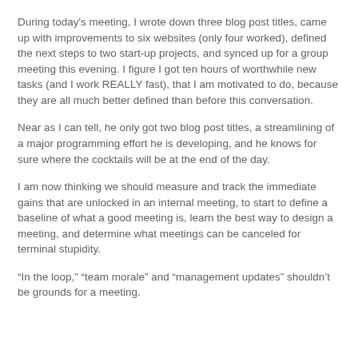During today's meeting, I wrote down three blog post titles, came up with improvements to six websites (only four worked), defined the next steps to two start-up projects, and synced up for a group meeting this evening. I figure I got ten hours of worthwhile new tasks (and I work REALLY fast), that I am motivated to do, because they are all much better defined than before this conversation.
Near as I can tell, he only got two blog post titles, a streamlining of a major programming effort he is developing, and he knows for sure where the cocktails will be at the end of the day.
I am now thinking we should measure and track the immediate gains that are unlocked in an internal meeting, to start to define a baseline of what a good meeting is, learn the best way to design a meeting, and determine what meetings can be canceled for terminal stupidity.
“In the loop,” “team morale” and “management updates” shouldn’t be grounds for a meeting.